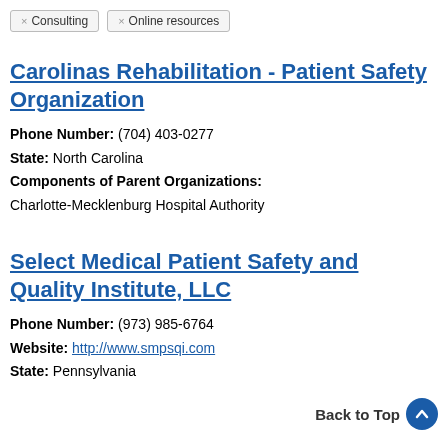× Consulting   × Online resources
Carolinas Rehabilitation - Patient Safety Organization
Phone Number: (704) 403-0277
State: North Carolina
Components of Parent Organizations:
Charlotte-Mecklenburg Hospital Authority
Select Medical Patient Safety and Quality Institute, LLC
Phone Number: (973) 985-6764
Website: http://www.smpsqi.com
State: Pennsylvania